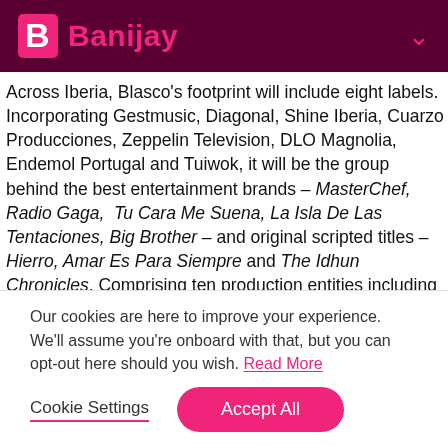Banijay
Across Iberia, Blasco's footprint will include eight labels. Incorporating Gestmusic, Diagonal, Shine Iberia, Cuarzo Producciones, Zeppelin Television, DLO Magnolia, Endemol Portugal and Tuiwok, it will be the group behind the best entertainment brands – MasterChef, Radio Gaga, Tu Cara Me Suena, La Isla De Las Tentaciones, Big Brother – and original scripted titles – Hierro, Amar Es Para Siempre and The Idhun Chronicles. Comprising ten production entities including Banijay Italia, Endemol Shine Italy and Banijay Studios Italy, Banijay Italy will be the home of some of the
Our cookies are here to improve your experience. We'll assume you're onboard with that, but you can opt-out here should you wish. Read More
Cookie Settings | Accept All